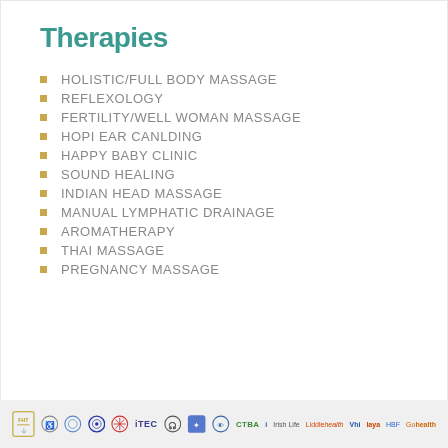Therapies
HOLISTIC/FULL BODY MASSAGE
REFLEXOLOGY
FERTILITY/WELL WOMAN MASSAGE
HOPI EAR CANLDING
HAPPY BABY CLINIC
SOUND HEALING
INDIAN HEAD MASSAGE
MANUAL LYMPHATIC DRAINAGE
AROMATHERAPY
THAI MASSAGE
PREGNANCY MASSAGE
FHT iTEC Irish Life Liddle VHI Laya HBF Go Health logos